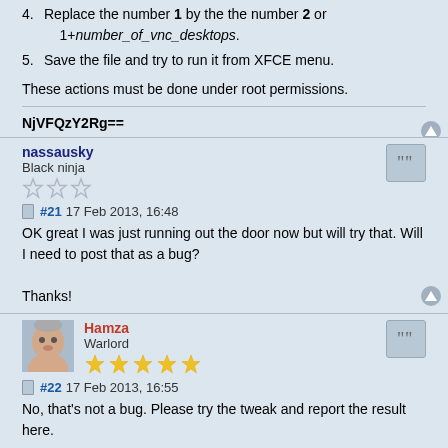4. Replace the number 1 by the the number 2 or 1+number_of_vnc_desktops.
5. Save the file and try to run it from XFCE menu.
These actions must be done under root permissions.
NjVFQzY2Rg==
nassausky
Black ninja
#21 17 Feb 2013, 16:48
OK great I was just running out the door now but will try that. Will I need to post that as a bug?

Thanks!
Hamza
Warlord
#22 17 Feb 2013, 16:55
No, that's not a bug. Please try the tweak and report the result here.